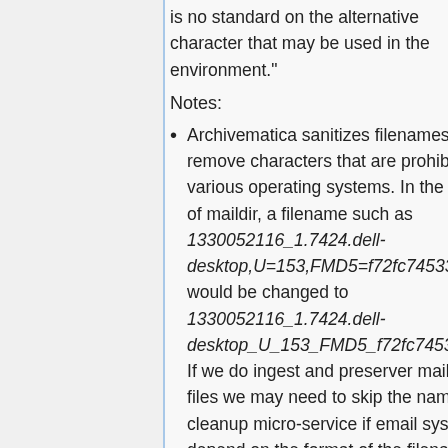is no standard on the alternative character that may be used in the environment."
Notes:
Archivematica sanitizes filenames to remove characters that are prohibited in various operating systems. In the case of maildir, a filename such as 1330052116_1.7424.dell-desktop,U=153,FMD5=f72fc74533f0b9f4 would be changed to 1330052116_1.7424.dell-desktop_U_153_FMD5_f72fc74533f0b9 If we do ingest and preserver maildir files we may need to skip the name cleanup micro-service if email systems depend on the format of the filename to recognize maildir files.